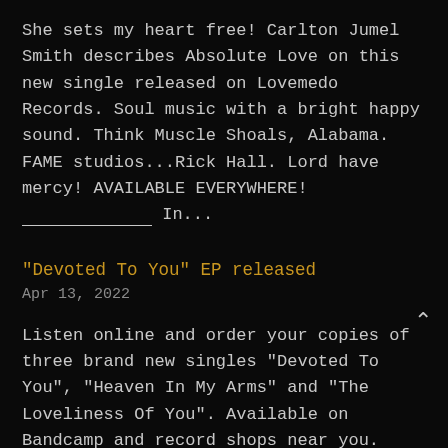She sets my heart free! Carlton Jumel Smith describes Absolute Love on this new single released on Lovemedo Records. Soul music with a bright happy sound. Think Muscle Shoals, Alabama. FAME studios...Rick Hall. Lord have mercy! AVAILABLE EVERYWHERE! _______________ In...
“Devoted To You” EP released
Apr 13, 2022
Listen online and order your copies of three brand new singles "Devoted To You", "Heaven In My Arms" and "The Loveliness Of You". Available on Bandcamp and record shops near you. Carlton Jumel Smith is back on...